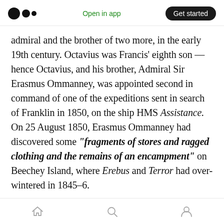Medium logo | Open in app | Get started
admiral and the brother of two more, in the early 19th century. Octavius was Francis' eighth son — hence Octavius, and his brother, Admiral Sir Erasmus Ommanney, was appointed second in command of one of the expeditions sent in search of Franklin in 1850, on the ship HMS Assistance. On 25 August 1850, Erasmus Ommanney had discovered some “fragments of stores and ragged clothing and the remains of an encampment” on Beechey Island, where Erebus and Terror had over-wintered in 1845–6.

Octavius Ommanney appears to have taken a
Home | Search | Profile